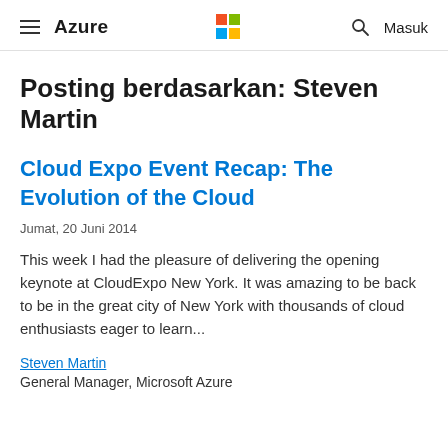Azure  Masuk
Posting berdasarkan: Steven Martin
Cloud Expo Event Recap: The Evolution of the Cloud
Jumat, 20 Juni 2014
This week I had the pleasure of delivering the opening keynote at CloudExpo New York. It was amazing to be back to be in the great city of New York with thousands of cloud enthusiasts eager to learn...
Steven Martin
General Manager, Microsoft Azure